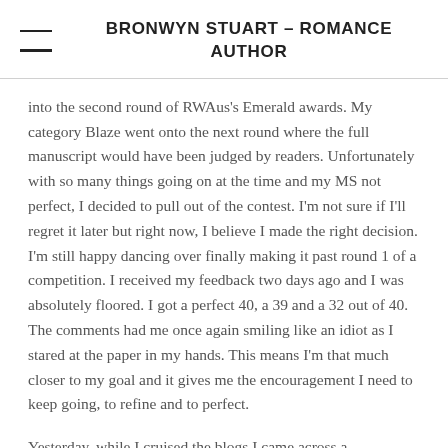BRONWYN STUART – ROMANCE AUTHOR
into the second round of RWAus's Emerald awards. My category Blaze went onto the next round where the full manuscript would have been judged by readers. Unfortunately with so many things going on at the time and my MS not perfect, I decided to pull out of the contest. I'm not sure if I'll regret it later but right now, I believe I made the right decision. I'm still happy dancing over finally making it past round 1 of a competition. I received my feedback two days ago and I was absolutely floored. I got a perfect 40, a 39 and a 32 out of 40. The comments had me once again smiling like an idiot as I stared at the paper in my hands. This means I'm that much closer to my goal and it gives me the encouragement I need to keep going, to refine and to perfect.
Yesterday, while I cruised the blogs I came across a